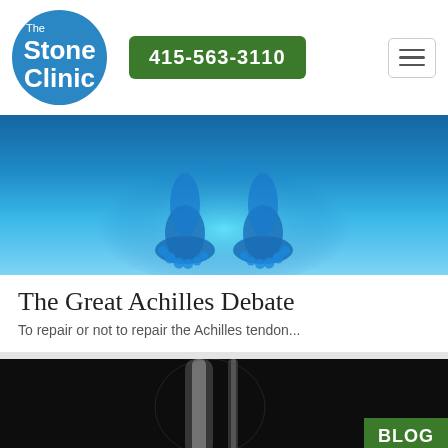The Stone Clinic | 415-563-3110
[Figure (illustration): Blue glowing anatomical feet/lower legs viewed from below against a blue gradient background]
The Great Achilles Debate
To repair or not to repair the Achilles tendon...
[Figure (photo): Black and white X-ray image of lower leg/ankle with BLOG badge overlay]